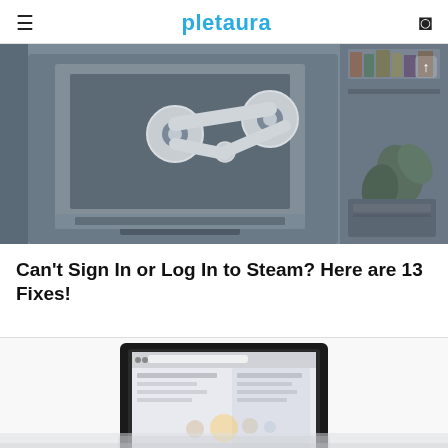pletaura
[Figure (illustration): 3D rendered gray scene showing a Steam logo (two white mechanical arms connected by circles) on a computer monitor, with bookshelves and a laptop in the background, all in dark gray tones. An upward arrow icon is in the top right corner.]
Can't Sign In or Log In to Steam? Here are 13 Fixes!
[Figure (screenshot): Partial view of a laptop screen showing a Steam application window with settings or account options, with a reflection visible below the laptop.]